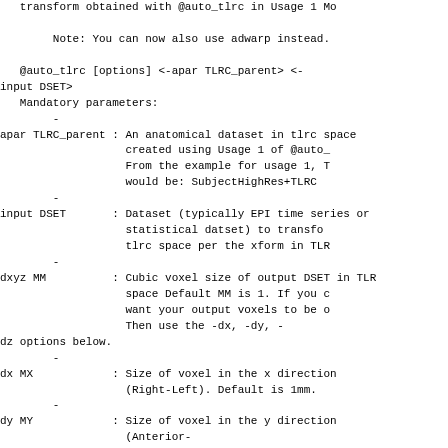transform obtained with @auto_tlrc in Usage 1 Mo
Note: You can now also use adwarp instead.
@auto_tlrc [options] <-apar TLRC_parent> <-
input DSET>
  Mandatory parameters:
        -
apar TLRC_parent : An anatomical dataset in tlrc space
                   created using Usage 1 of @auto_
                   From the example for usage 1, T
                   would be: SubjectHighRes+TLRC
        -
input DSET       : Dataset (typically EPI time series or
                   statistical datset) to transfo
                   tlrc space per the xform in TLR
        -
dxyz MM          : Cubic voxel size of output DSET in TLR
                   space Default MM is 1. If you c
                   want your output voxels to be o
                   Then use the -dx, -dy, -
dz options below.
        -
dx MX            : Size of voxel in the x direction
                   (Right-Left). Default is 1mm.
        -
dy MY            : Size of voxel in the y direction
                   (Anterior-
Posterior). Default is 1mm.

        -
dz MZ            : Size of voxel in the z direction